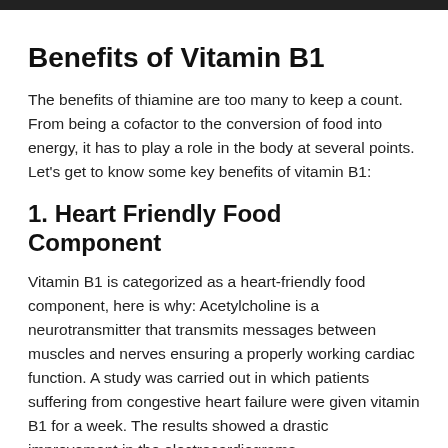Benefits of Vitamin B1
The benefits of thiamine are too many to keep a count. From being a cofactor to the conversion of food into energy, it has to play a role in the body at several points. Let’s get to know some key benefits of vitamin B1:
1. Heart Friendly Food Component
Vitamin B1 is categorized as a heart-friendly food component, here is why: Acetylcholine is a neurotransmitter that transmits messages between muscles and nerves ensuring a properly working cardiac function. A study was carried out in which patients suffering from congestive heart failure were given vitamin B1 for a week. The results showed a drastic improvement in the electrocardiograms